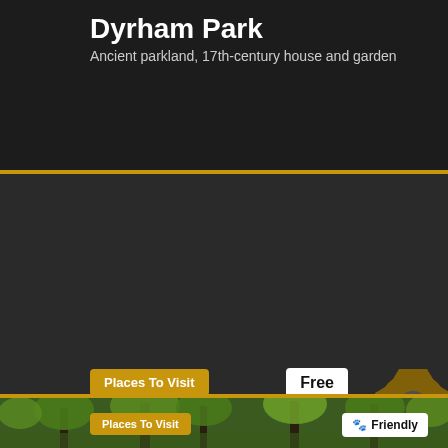Dyrham Park
Ancient parkland, 17th-century house and garden
Places To Visit
Free
Warleigh Weir
A popular weir situated on working agricultural land
Places To Visit
🐾 Friendly
[Figure (illustration): A golden gear/settings cog icon partially visible in the upper right of the Warleigh Weir card]
[Figure (photo): Green forest with trees and foliage visible at the bottom of the page]